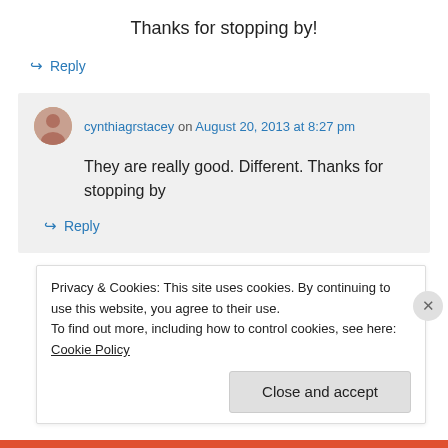Thanks for stopping by!
↪ Reply
cynthiagrstacey on August 20, 2013 at 8:27 pm
They are really good. Different. Thanks for stopping by
↪ Reply
Privacy & Cookies: This site uses cookies. By continuing to use this website, you agree to their use.
To find out more, including how to control cookies, see here: Cookie Policy
Close and accept